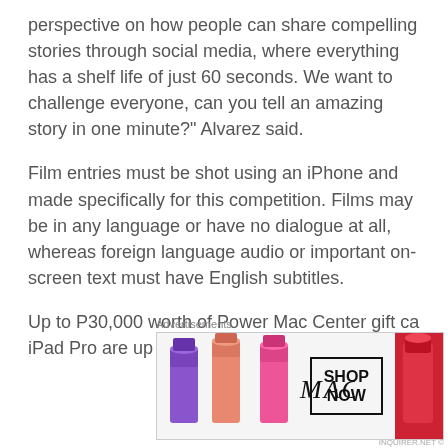perspective on how people can share compelling stories through social media, where everything has a shelf life of just 60 seconds. We want to challenge everyone, can you tell an amazing story in one minute?" Alvarez said.
Film entries must be shot using an iPhone and made specifically for this competition. Films may be in any language or have no dialogue at all, whereas foreign language audio or important on-screen text must have English subtitles.
Up to P30,000 worth of Power Mac Center gift cards, full training on Final Cut Pro or Logic Pro X, and an iPad Pro are up for grabs.
Advertisements
[Figure (photo): MAC Cosmetics advertisement banner showing lipsticks in purple, pink, and red colors alongside the MAC logo and a 'SHOP NOW' button box]